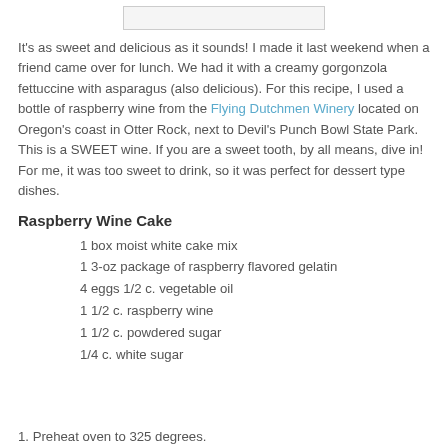[Figure (other): Image placeholder at top of page]
It's as sweet and delicious as it sounds! I made it last weekend when a friend came over for lunch. We had it with a creamy gorgonzola fettuccine with asparagus (also delicious). For this recipe, I used a bottle of raspberry wine from the Flying Dutchmen Winery located on Oregon's coast in Otter Rock, next to Devil's Punch Bowl State Park. This is a SWEET wine. If you are a sweet tooth, by all means, dive in! For me, it was too sweet to drink, so it was perfect for dessert type dishes.
Raspberry Wine Cake
1 box moist white cake mix
1 3-oz package of raspberry flavored gelatin
4 eggs 1/2 c. vegetable oil
1 1/2 c. raspberry wine
1 1/2 c. powdered sugar
1/4 c. white sugar
1. Preheat oven to 325 degrees.